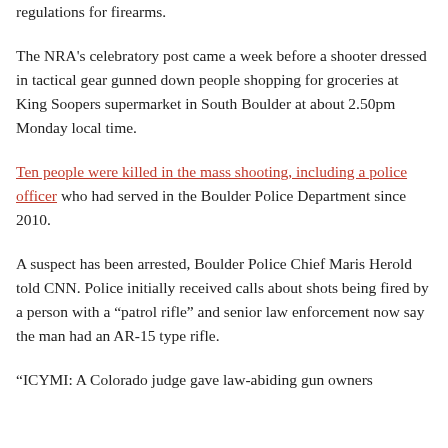regulations for firearms.
The NRA's celebratory post came a week before a shooter dressed in tactical gear gunned down people shopping for groceries at King Soopers supermarket in South Boulder at about 2.50pm Monday local time.
Ten people were killed in the mass shooting, including a police officer who had served in the Boulder Police Department since 2010.
A suspect has been arrested, Boulder Police Chief Maris Herold told CNN. Police initially received calls about shots being fired by a person with a “patrol rifle” and senior law enforcement now say the man had an AR-15 type rifle.
“ICYMI: A Colorado judge gave law-abiding gun owners